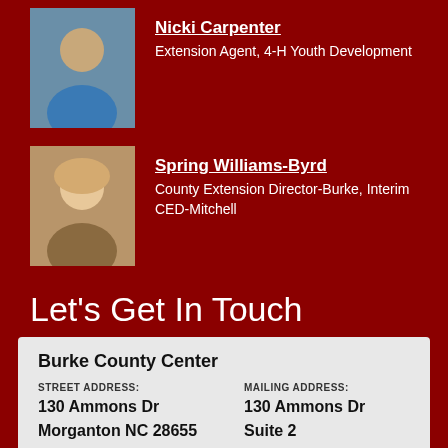[Figure (photo): Photo of Nicki Carpenter]
Nicki Carpenter
Extension Agent, 4-H Youth Development
[Figure (photo): Photo of Spring Williams-Byrd]
Spring Williams-Byrd
County Extension Director-Burke, Interim CED-Mitchell
Let's Get In Touch
Burke County Center
STREET ADDRESS:
130 Ammons Dr
Morganton NC 28655
MAILING ADDRESS:
130 Ammons Dr
Suite 2
Morganton NC 28655
OPEN MON-FRI: CLOSED TODAY
(828) 764-9480